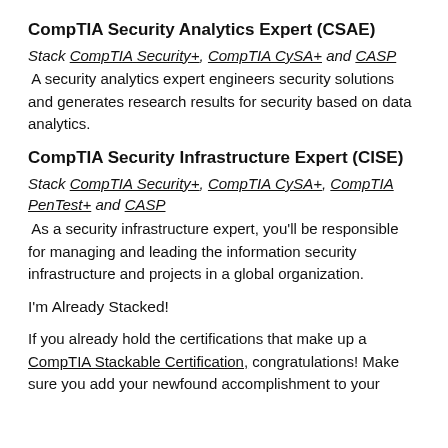CompTIA Security Analytics Expert (CSAE)
Stack CompTIA Security+, CompTIA CySA+ and CASP
A security analytics expert engineers security solutions and generates research results for security based on data analytics.
CompTIA Security Infrastructure Expert (CISE)
Stack CompTIA Security+, CompTIA CySA+, CompTIA PenTest+ and CASP
As a security infrastructure expert, you'll be responsible for managing and leading the information security infrastructure and projects in a global organization.
I'm Already Stacked!
If you already hold the certifications that make up a CompTIA Stackable Certification, congratulations! Make sure you add your newfound accomplishment to your